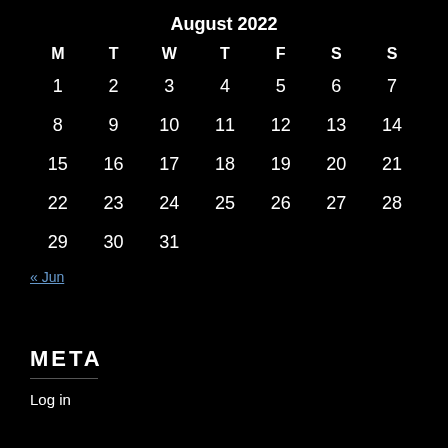August 2022
| M | T | W | T | F | S | S |
| --- | --- | --- | --- | --- | --- | --- |
| 1 | 2 | 3 | 4 | 5 | 6 | 7 |
| 8 | 9 | 10 | 11 | 12 | 13 | 14 |
| 15 | 16 | 17 | 18 | 19 | 20 | 21 |
| 22 | 23 | 24 | 25 | 26 | 27 | 28 |
| 29 | 30 | 31 |  |  |  |  |
« Jun
META
Log in